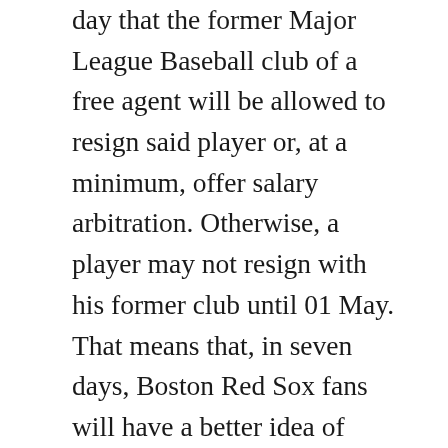day that the former Major League Baseball club of a free agent will be allowed to resign said player or, at a minimum, offer salary arbitration. Otherwise, a player may not resign with his former club until 01 May. That means that, in seven days, Boston Red Sox fans will have a better idea of what face the club will have on Opening Day in 2005 as the organization prepares to defend its World Series crown. Of the 16 free agents that played last season for Boston, one has fled to Japan, utility outfielder Gabe Kapler, and one has resigned with Boston, Doug Mirabelli. Of those remaining players, four big names top the list of players that may or may not return in a Red Sox uniform next season; what chance will they be back?